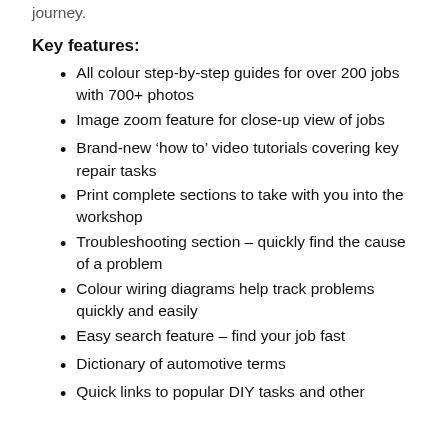journey.
Key features:
All colour step-by-step guides for over 200 jobs with 700+ photos
Image zoom feature for close-up view of jobs
Brand-new ‘how to’ video tutorials covering key repair tasks
Print complete sections to take with you into the workshop
Troubleshooting section – quickly find the cause of a problem
Colour wiring diagrams help track problems quickly and easily
Easy search feature – find your job fast
Dictionary of automotive terms
Quick links to popular DIY tasks and other